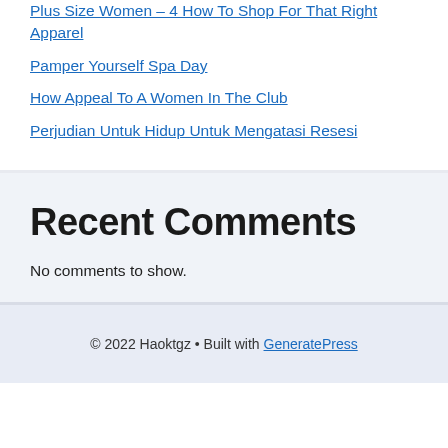Plus Size Women – 4 How To Shop For That Right Apparel
Pamper Yourself Spa Day
How Appeal To A Women In The Club
Perjudian Untuk Hidup Untuk Mengatasi Resesi
Recent Comments
No comments to show.
© 2022 Haoktgz • Built with GeneratePress